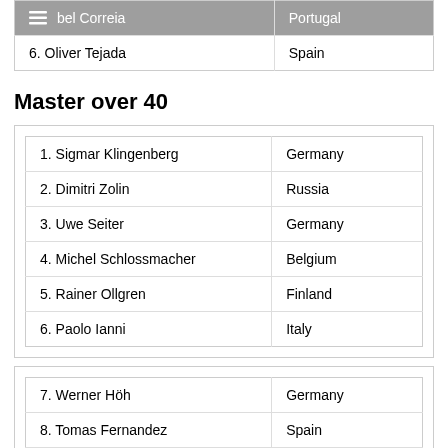| Name | Country |
| --- | --- |
| [menu icon] bel Correia | Portugal |
| 6. Oliver Tejada | Spain |
Master over 40
| 1.  Sigmar Klingenberg | Germany |
| 2.  Dimitri Zolin | Russia |
| 3.  Uwe Seiter | Germany |
| 4.  Michel Schlossmacher | Belgium |
| 5.  Rainer Ollgren | Finland |
| 6.  Paolo Ianni | Italy |
| 7.  Werner Höh | Germany |
| 8.  Tomas Fernandez | Spain |
| 9.  Andres Ortiz | Spain |
| 10. José Sanchez | Spain |
| 11. Frank Bach | Germany |